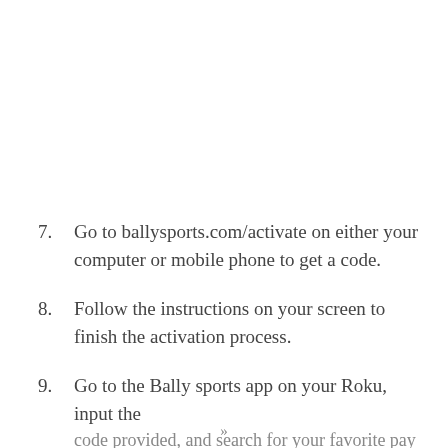7.  Go to ballysports.com/activate on either your computer or mobile phone to get a code.
8.  Follow the instructions on your screen to finish the activation process.
9.  Go to the Bally sports app on your Roku, input the code provided, and search for your favorite pay TV
»